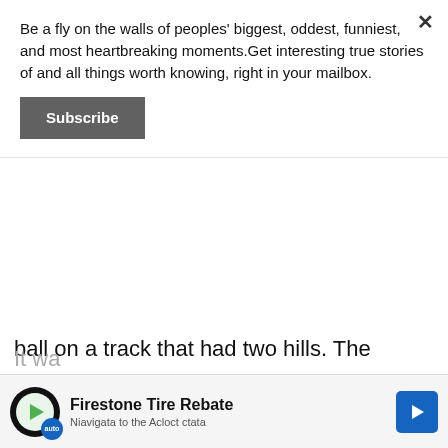Be a fly on the walls of peoples' biggest, oddest, funniest, and most heartbreaking moments.Get interesting true stories of and all things worth knowing, right in your mailbox.
Subscribe
ball on a track that had two hills. The objective was to push the ball hard enough to get it over the first hill but not too hard to get it over the second hill.
I was fascinated with the challenge and stayed there for a long time as my parents were over by the food booths with their friends.
It wa
[Figure (other): Advertisement banner for Firestone Tire Rebate with logo, text, and arrow icon]